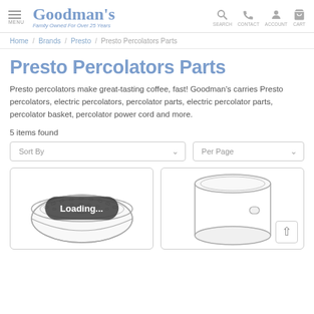Goodman's — Family Owned For Over 25 Years | SEARCH CONTACT ACCOUNT CART
Home / Brands / Presto / Presto Percolators Parts
Presto Percolators Parts
Presto percolators make great-tasting coffee, fast! Goodman's carries Presto percolators, electric percolators, percolator parts, electric percolator parts, percolator basket, percolator power cord and more.
5 items found
Sort By | Per Page
[Figure (illustration): Line drawing of a round percolator basket/filter disc with small rectangular holes arranged in concentric rings]
[Figure (illustration): Line drawing of a cylindrical percolator pot/cup with a small handle nub on the side]